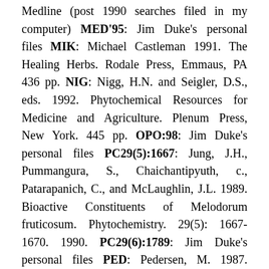Medline (post 1990 searches filed in my computer) MED'95: Jim Duke's personal files MIK: Michael Castleman 1991. The Healing Herbs. Rodale Press, Emmaus, PA 436 pp. NIG: Nigg, H.N. and Seigler, D.S., eds. 1992. Phytochemical Resources for Medicine and Agriculture. Plenum Press, New York. 445 pp. OPO:98: Jim Duke's personal files PC29(5):1667: Jung, J.H., Pummangura, S., Chaichantipyuth, c., Patarapanich, C., and McLaughlin, J.L. 1989. Bioactive Constituents of Melodorum fruticosum. Phytochemistry. 29(5): 1667-1670. 1990. PC29(6):1789: Jim Duke's personal files PED: Pedersen, M. 1987. Nutritional Herbology. Pederson Publishing. Bountiful, Utah. 377 pp. Note: Some constituents between species...